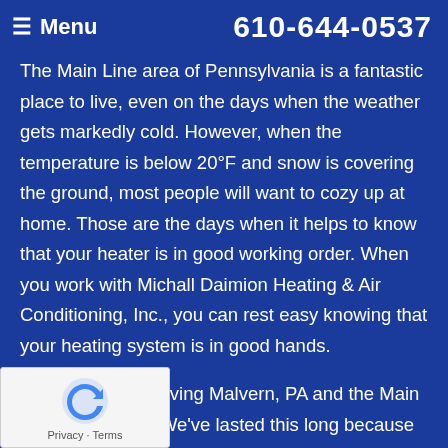≡ Menu   610-644-0537
The Main Line area of Pennsylvania is a fantastic place to live, even on the days when the weather gets markedly cold. However, when the temperature is below 20°F and snow is covering the ground, most people will want to cozy up at home. Those are the days when it helps to know that your heater is in good working order. When you work with Michall Daimion Heating & Air Conditioning, Inc., you can rest easy knowing that your heating system is in good hands.
We have been serving Malvern, PA and the Main Line since 1976. We've lasted this long because we make sure to offer our customers excellent care and reliable home services by our trustworthy team members. Our company works hard to make sure we offer the best heating system